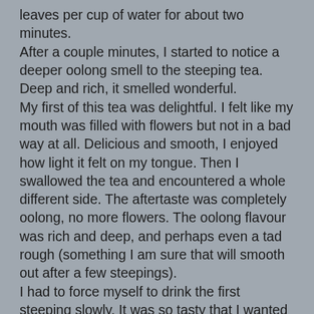leaves per cup of water for about two minutes. After a couple minutes, I started to notice a deeper oolong smell to the steeping tea. Deep and rich, it smelled wonderful. My first of this tea was delightful. I felt like my mouth was filled with flowers but not in a bad way at all. Delicious and smooth, I enjoyed how light it felt on my tongue. Then I swallowed the tea and encountered a whole different side. The aftertaste was completely oolong, no more flowers. The oolong flavour was rich and deep, and perhaps even a tad rough (something I am sure that will smooth out after a few steepings). I had to force myself to drink the first steeping slowly. It was so tasty that I wanted to continue drinking it without taking time to contemplate the tea. The second steeping tasted much like the first, but sooo much smoother. There was a definite developed sweetness to the tea as well. This is a great tea for people who want to start drinking oolongs, but are used to the light sweetness of floral green and white teas. I was a little disappointed that this tea did not live up to much of the hype I have heard surrounding Dan